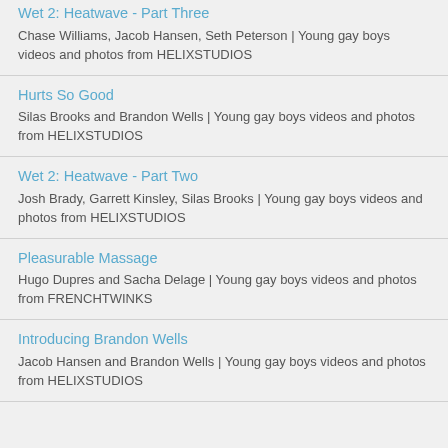Wet 2: Heatwave - Part Three
Chase Williams, Jacob Hansen, Seth Peterson | Young gay boys videos and photos from HELIXSTUDIOS
Hurts So Good
Silas Brooks and Brandon Wells | Young gay boys videos and photos from HELIXSTUDIOS
Wet 2: Heatwave - Part Two
Josh Brady, Garrett Kinsley, Silas Brooks | Young gay boys videos and photos from HELIXSTUDIOS
Pleasurable Massage
Hugo Dupres and Sacha Delage | Young gay boys videos and photos from FRENCHTWINKS
Introducing Brandon Wells
Jacob Hansen and Brandon Wells | Young gay boys videos and photos from HELIXSTUDIOS